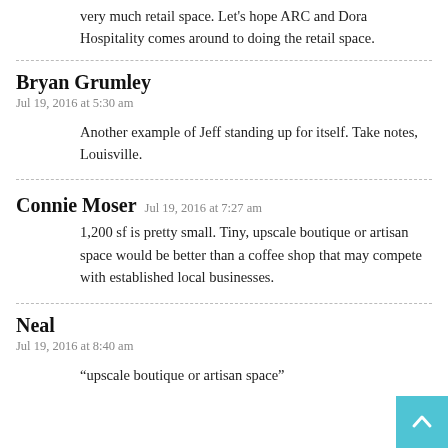very much retail space. Let's hope ARC and Dora Hospitality comes around to doing the retail space.
Bryan Grumley
Jul 19, 2016 at 5:30 am
Another example of Jeff standing up for itself. Take notes, Louisville.
Connie Moser  Jul 19, 2016 at 7:27 am
1,200 sf is pretty small. Tiny, upscale boutique or artisan space would be better than a coffee shop that may compete with established local businesses.
Neal
Jul 19, 2016 at 8:40 am
“upscale boutique or artisan space”